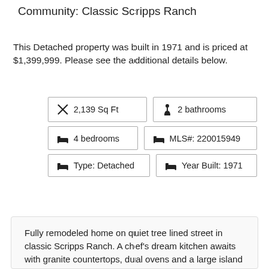Community: Classic Scripps Ranch
This Detached property was built in 1971 and is priced at $1,399,999. Please see the additional details below.
| 2,139 Sq Ft | 2 bathrooms |
| 4 bedrooms | MLS#: 220015949 |
| Type: Detached | Year Built: 1971 |
Fully remodeled home on quiet tree lined street in classic Scripps Ranch. A chef's dream kitchen awaits with granite countertops, dual ovens and a large island that is ideal for entertaining. Inviting